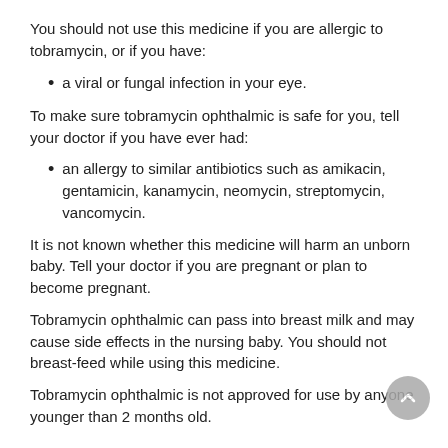You should not use this medicine if you are allergic to tobramycin, or if you have:
a viral or fungal infection in your eye.
To make sure tobramycin ophthalmic is safe for you, tell your doctor if you have ever had:
an allergy to similar antibiotics such as amikacin, gentamicin, kanamycin, neomycin, streptomycin, vancomycin.
It is not known whether this medicine will harm an unborn baby. Tell your doctor if you are pregnant or plan to become pregnant.
Tobramycin ophthalmic can pass into breast milk and may cause side effects in the nursing baby. You should not breast-feed while using this medicine.
Tobramycin ophthalmic is not approved for use by anyone younger than 2 months old.